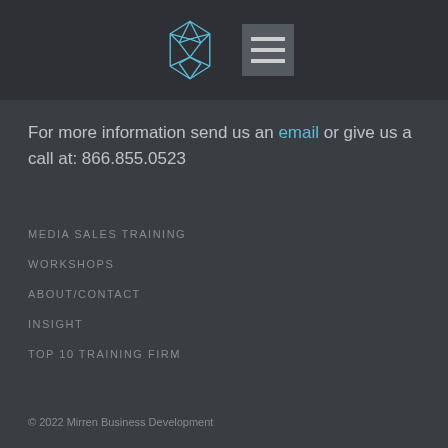[Figure (logo): Mirren Business Development geometric M logo in light blue, with a hamburger menu button to the right]
For more information send us an email or give us a call at: 866.855.0523
MEDIA SALES TRAINING
WORKSHOPS
ABOUT/CONTACT
INSIGHT
TOP 10 TRAINING FIRM
© 2022 Mirren Business Development